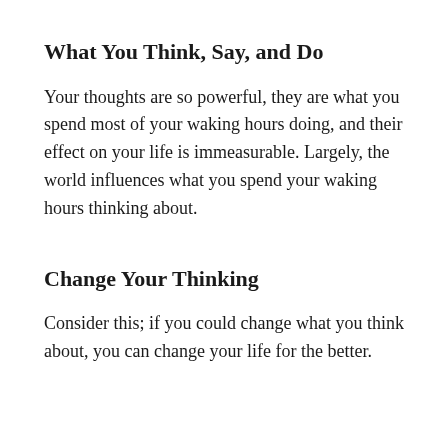What You Think, Say, and Do
Your thoughts are so powerful, they are what you spend most of your waking hours doing, and their effect on your life is immeasurable. Largely, the world influences what you spend your waking hours thinking about.
Change Your Thinking
Consider this; if you could change what you think about, you can change your life for the better.